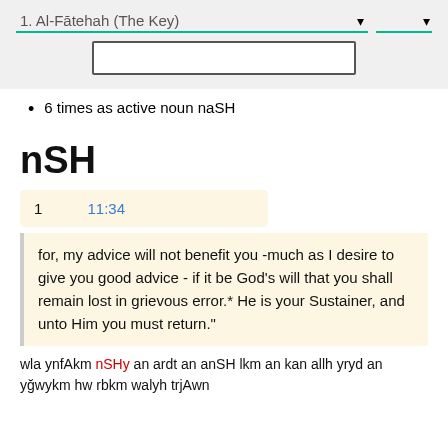1. Al-Fātehah (The Key)
6 times as active noun naSH
nSH
|  |  |
| --- | --- |
| 1 | 11:34 |
for, my advice will not benefit you -much as I desire to give you good advice - if it be God's will that you shall remain lost in grievous error.* He is your Sustainer, and unto Him you must return."
wla ynfAkm nSHy an ardt an anSH lkm an kan allh yryd an yğwykm hw rbkm walyh trjAwn